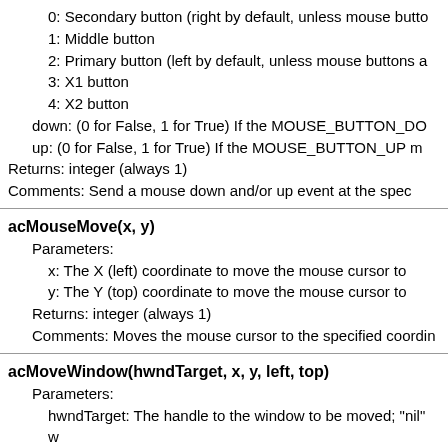0: Secondary button (right by default, unless mouse bu...
1: Middle button
2: Primary button (left by default, unless mouse buttons a...
3: X1 button
4: X2 button
down: (0 for False, 1 for True) If the MOUSE_BUTTON_DO...
up: (0 for False, 1 for True) If the MOUSE_BUTTON_UP m...
Returns: integer (always 1)
Comments: Send a mouse down and/or up event at the spec...
acMouseMove(x, y)
Parameters:
x: The X (left) coordinate to move the mouse cursor to
y: The Y (top) coordinate to move the mouse cursor to
Returns: integer (always 1)
Comments: Moves the mouse cursor to the specified coordin...
acMoveWindow(hwndTarget, x, y, left, top)
Parameters:
hwndTarget: The handle to the window to be moved; "nil" w...
x: The X (left) coordinate of the window to be moved
y: The Y (top) coordinate of the window to be moved
left: The new X (left) coordinate of the window's location
top: The new Y (top) coordinate of the window's location